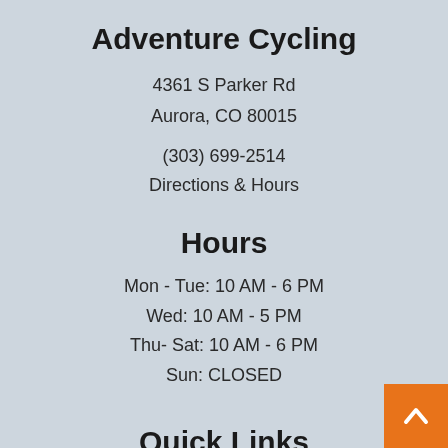Adventure Cycling
4361 S Parker Rd
Aurora, CO 80015
(303) 699-2514
Directions & Hours
Hours
Mon - Tue: 10 AM - 6 PM
Wed: 10 AM - 5 PM
Thu- Sat: 10 AM - 6 PM
Sun: CLOSED
Quick Links
Policies & Shipping